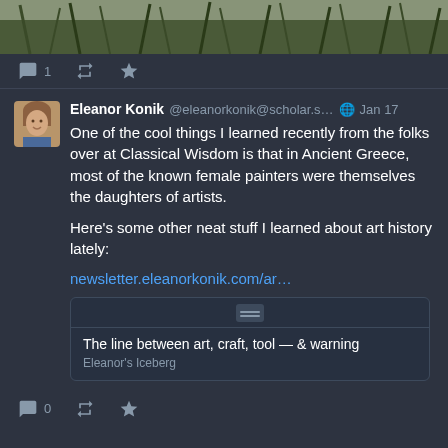[Figure (photo): Top portion of a tweet showing a cropped image of grass/reeds against a light sky]
↩ 1  [retweet icon]  [star icon]
Eleanor Konik @eleanorkonik@scholar.s… 🌐 Jan 17
One of the cool things I learned recently from the folks over at Classical Wisdom is that in Ancient Greece, most of the known female painters were themselves the daughters of artists.

Here's some other neat stuff I learned about art history lately:

newsletter.eleanorkonik.com/ar…
[Figure (screenshot): Link card showing: The line between art, craft, tool — & warning / Eleanor's Iceberg]
↩ 0  [retweet icon]  [star icon]